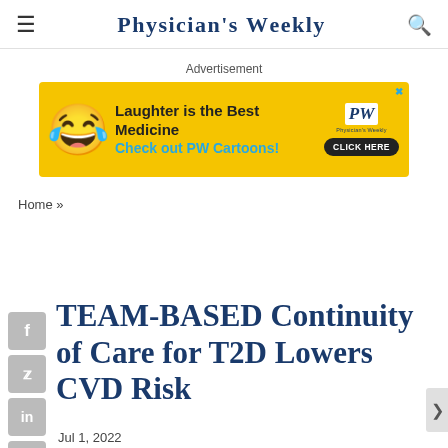Physician's Weekly
Advertisement
[Figure (illustration): Yellow advertisement banner for Physician's Weekly Cartoons: laughing emoji, text 'Laughter is the Best Medicine Check out PW Cartoons! CLICK HERE', PW logo]
Home »
TEAM-BASED Continuity of Care for T2D Lowers CVD Risk
Jul 1, 2022